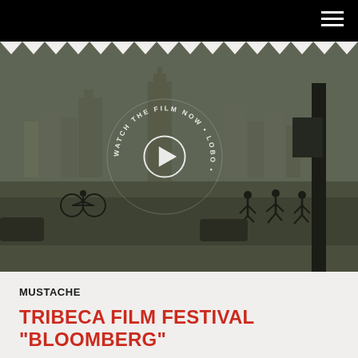[Figure (screenshot): Video thumbnail showing an animated city skyline scene with silhouetted running figures. A circular play button is overlaid in the center with circular text reading 'WATCH THE FILM NOW • LOBO •'. The image has a warm olive/grey tonal treatment.]
MUSTACHE
TRIBECA FILM FESTIVAL "BLOOMBERG"